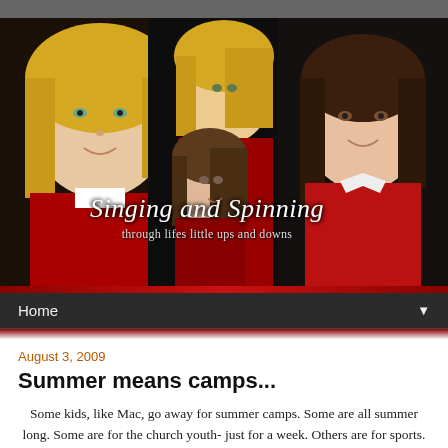[Figure (photo): Blog header photo collage of three girls/children wearing red sweaters against dark background, with blog title 'Singing and Spinning' and subtitle 'through lifes little ups and downs' overlaid]
Home
August 3, 2009
Summer means camps...
Some kids, like Mac, go away for summer camps. Some are all summer long. Some are for the church youth- just for a week. Others are for sports. And still others are for arts and crafts. This summer, our little girls, Jade and Asher, got to do volleyball camp with Aunt Kat and Uncle Tom...